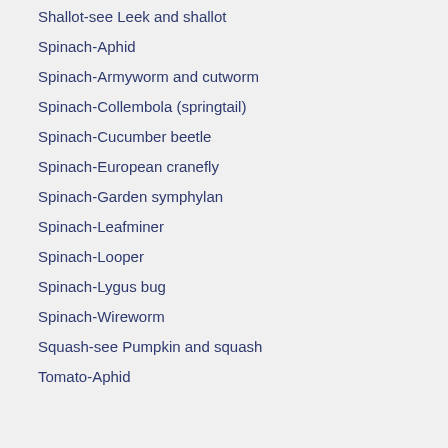Shallot-see Leek and shallot
Spinach-Aphid
Spinach-Armyworm and cutworm
Spinach-Collembola (springtail)
Spinach-Cucumber beetle
Spinach-European cranefly
Spinach-Garden symphylan
Spinach-Leafminer
Spinach-Looper
Spinach-Lygus bug
Spinach-Wireworm
Squash-see Pumpkin and squash
Tomato-Aphid